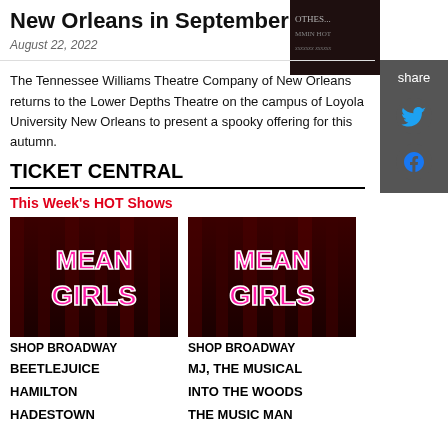New Orleans in September
August 22, 2022
[Figure (photo): Book cover thumbnail - dark image with text OTHES and HOTE visible]
The Tennessee Williams Theatre Company of New Orleans returns to the Lower Depths Theatre on the campus of Loyola University New Orleans to present a spooky offering for this autumn.
TICKET CENTRAL
This Week's HOT Shows
[Figure (photo): Mean Girls musical logo on dark red curtain background - left image]
[Figure (photo): Mean Girls musical logo on dark red curtain background - right image]
SHOP BROADWAY
SHOP BROADWAY
BEETLEJUICE
MJ, THE MUSICAL
HAMILTON
INTO THE WOODS
HADESTOWN
THE MUSIC MAN